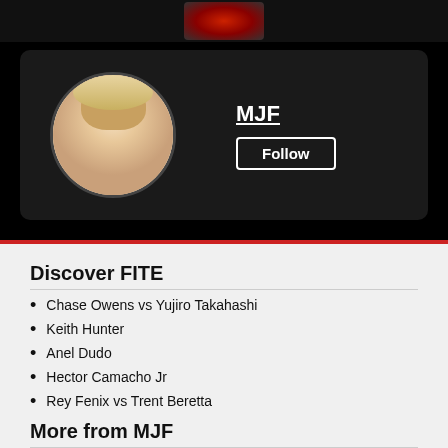[Figure (photo): Top banner with partially visible red logo/image on black background]
[Figure (photo): MJF wrestler profile card with circular headshot photo on dark background, name MJF with underline, and Follow button]
Discover FITE
Chase Owens vs Yujiro Takahashi
Keith Hunter
Anel Dudo
Hector Camacho Jr
Rey Fenix vs Trent Beretta
More from MJF
MJF vs Mance Warner
MJF vs Malakai Black
MJF vs Peter Avalon "The Librarian"
MJF vs Swerve Strickland
MJF vs PAC